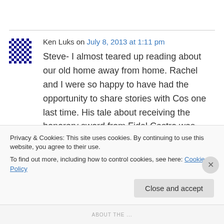Ken Luks on July 8, 2013 at 1:11 pm
Steve- I almost teared up reading about our old home away from home. Rachel and I were so happy to have had the opportunity to share stories with Cos one last time. His tale about receiving the honorary sword from Fidel Castro was priceless! You and Jerry jeff put on a hell of
Privacy & Cookies: This site uses cookies. By continuing to use this website, you agree to their use.
To find out more, including how to control cookies, see here: Cookie Policy